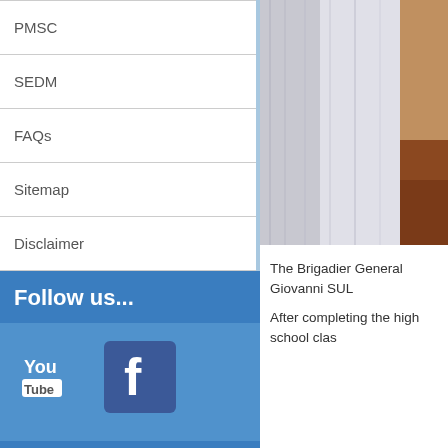PMSC
SEDM
FAQs
Sitemap
Disclaimer
Follow us...
[Figure (logo): YouTube logo icon]
[Figure (logo): Facebook logo icon (blue rounded square with white f)]
Statistics
View Hits:	956273
[Figure (photo): Photo showing curtains and furniture (partial view, right side of page)]
The Brigadier General Giovanni SUL
After completing the high school clas